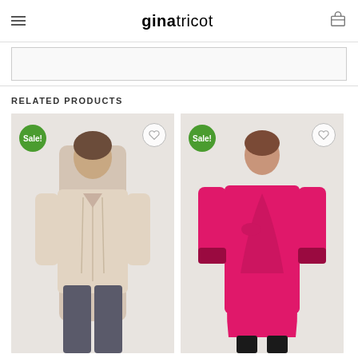ginatricot
[Figure (screenshot): Gray content box placeholder area]
RELATED PRODUCTS
[Figure (photo): Woman wearing a beige ruched fitted cardigan top with dark jeans. Sale badge visible. Wishlist heart icon in top right.]
[Figure (photo): Woman wearing a hot pink satin wrap midi dress with long sleeves. Sale badge visible. Wishlist heart icon in top right.]